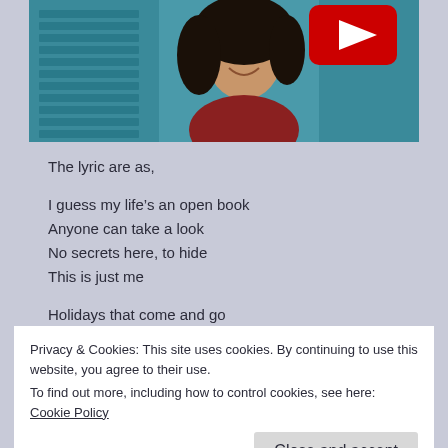[Figure (photo): Woman with dark curly hair smiling, leaning against teal shuttered wall, with YouTube play button overlay in top right]
The lyric are as,
I guess my life's an open book
Anyone can take a look
No secrets here, to hide
This is just me
Holidays that come and go
Feelings change, people grow
Privacy & Cookies: This site uses cookies. By continuing to use this website, you agree to their use.
To find out more, including how to control cookies, see here: Cookie Policy
Close and accept
Any time.